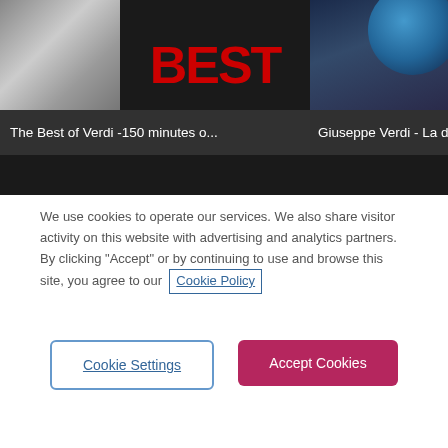[Figure (screenshot): Top section showing two music album cards on dark background. Left card shows a cat image and text 'BEST' in red, with label 'The Best of Verdi -150 minutes o...'. Right card shows an earth/planet image with label 'Giuseppe Verdi - La do...']
[Figure (screenshot): Dark promotional banner for SoundHound app showing title 'Download SoundHound', description text, and two smartphones displaying the SoundHound app interface with orange logo]
We use cookies to operate our services. We also share visitor activity on this website with advertising and analytics partners. By clicking “Accept” or by continuing to use and browse this site, you agree to our  Cookie Policy
Cookie Settings
Accept Cookies